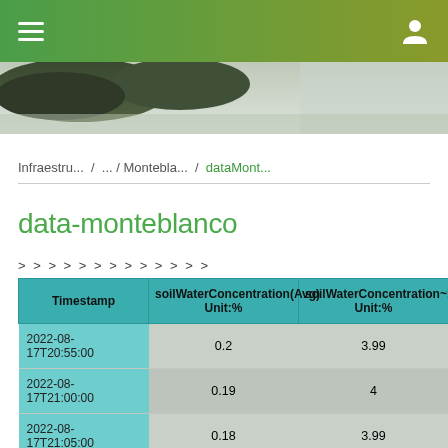≡  [user icon]
[Figure (photo): Landscape photo strip showing trees and sky]
Infraestru... / ... / Montebla... / dataMont...
data-monteblanco
> > > > > > > > > > > > >
| Timestamp | soilWaterConcentration(Avg) Unit:% | soilWaterConcentration~1(Avg) Unit:% |
| --- | --- | --- |
| 2022-08-17T20:55:00 | 0.2 | 3.99 |
| 2022-08-17T21:00:00 | 0.19 | 4 |
| 2022-08-17T21:05:00 | 0.18 | 3.99 |
| 2022-08-17T21:10:00 | 0.19 | 4 |